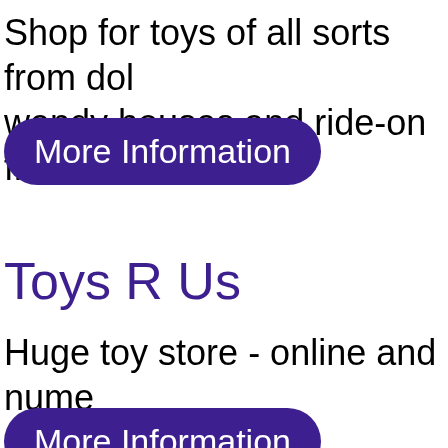Shop for toys of all sorts from dolls, wendy houses and ride-on fire en...
More Information
Toys R Us
Huge toy store - online and numerous stores around the UK
More Information